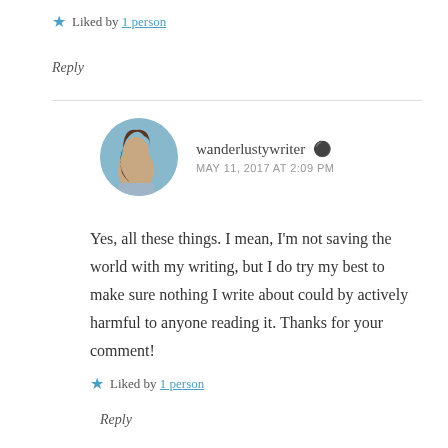★ Liked by 1 person
Reply
wanderlustywriter  👤  MAY 11, 2017 AT 2:09 PM
Yes, all these things. I mean, I'm not saving the world with my writing, but I do try my best to make sure nothing I write about could by actively harmful to anyone reading it. Thanks for your comment!
★ Liked by 1 person
Reply